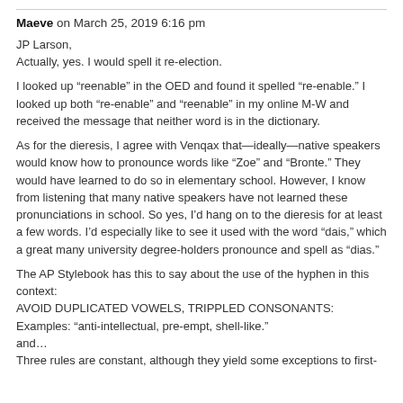Maeve on March 25, 2019 6:16 pm
JP Larson,
Actually, yes. I would spell it re-election.
I looked up “reenable” in the OED and found it spelled “re-enable.” I looked up both “re-enable” and “reenable” in my online M-W and received the message that neither word is in the dictionary.
As for the dieresis, I agree with Venqax that—ideally—native speakers would know how to pronounce words like “Zoe” and “Bronte.” They would have learned to do so in elementary school. However, I know from listening that many native speakers have not learned these pronunciations in school. So yes, I’d hang on to the dieresis for at least a few words. I’d especially like to see it used with the word “dais,” which a great many university degree-holders pronounce and spell as “dias.”
The AP Stylebook has this to say about the use of the hyphen in this context:
AVOID DUPLICATED VOWELS, TRIPPLED CONSONANTS: Examples: “anti-intellectual, pre-empt, shell-like.”
and...
Three rules are constant, although they yield some exceptions to first-